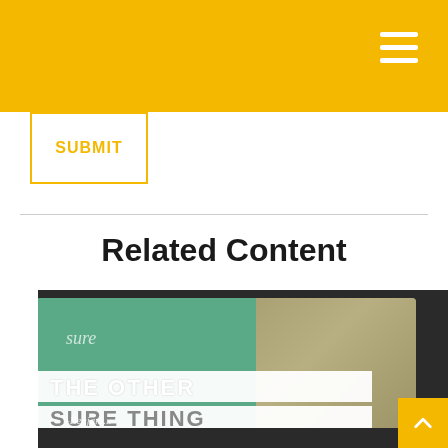SUBMIT
Related Content
[Figure (photo): A tablet displaying a screen with a green background and Benjamin Franklin portrait. Overlaid white banner text reads 'THE OTHER SURE THING' with italic text 'sure' and '-Benjamin' visible on the screen.]